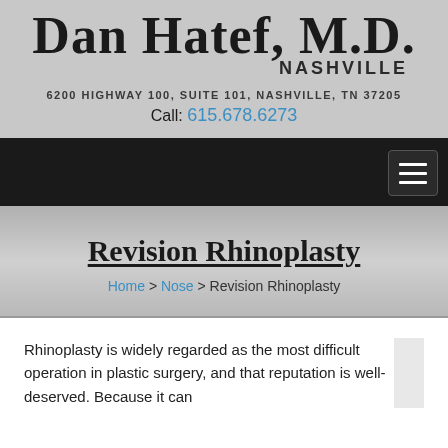Dan Hatef, M.D. NASHVILLE
6200 HIGHWAY 100, SUITE 101, NASHVILLE, TN 37205
Call: 615.678.6273
Navigation menu
Revision Rhinoplasty
Home > Nose > Revision Rhinoplasty
Rhinoplasty is widely regarded as the most difficult operation in plastic surgery, and that reputation is well-deserved. Because it can